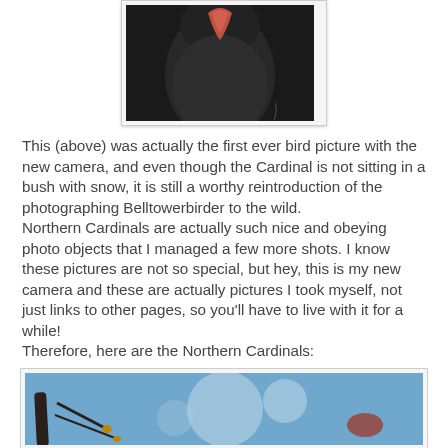[Figure (photo): Close-up photo of a bird (Cardinal) from below/front against a dark background, showing the underside of the beak and red feathers]
This (above) was actually the first ever bird picture with the new camera, and even though the Cardinal is not sitting in a bush with snow, it is still a worthy reintroduction of the photographing Belltowerbirder to the wild.
Northern Cardinals are actually such nice and obeying photo objects that I managed a few more shots. I know these pictures are not so special, but hey, this is my new camera and these are actually pictures I took myself, not just links to other pages, so you'll have to live with it for a while!
Therefore, here are the Northern Cardinals:
[Figure (photo): Photo of a Northern Cardinal bird on a branch against a blue blurred background]